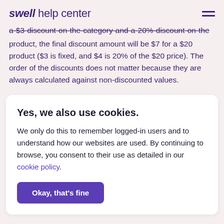swell help center
a-$3-discount-on-the-category-and-a-20%-discount-on-the product, the final discount amount will be $7 for a $20 product ($3 is fixed, and $4 is 20% of the $20 price). The order of the discounts does not matter because they are always calculated against non-discounted values.
Yes, we also use cookies.
We only do this to remember logged-in users and to understand how our websites are used. By continuing to browse, you consent to their use as detailed in our cookie policy.